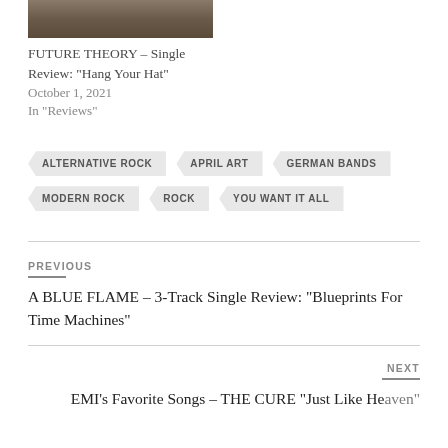[Figure (photo): Partial thumbnail image of a music-related photo, cropped at top]
FUTURE THEORY – Single Review: “Hang Your Hat”
October 1, 2021
In “Reviews”
ALTERNATIVE ROCK
APRIL ART
GERMAN BANDS
MODERN ROCK
ROCK
YOU WANT IT ALL
PREVIOUS
A BLUE FLAME – 3-Track Single Review: “Blueprints For Time Machines”
NEXT
EMI’s Favorite Songs – THE CURE “Just Like Heaven”